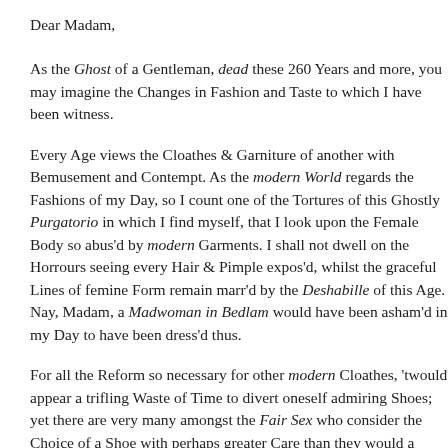Dear Madam,
As the Ghost of a Gentleman, dead these 260 Years and more, you may imagine the Changes in Fashion and Taste to which I have been witness.
Every Age views the Cloathes & Garniture of another with Bemusement and Contempt. As the modern World regards the Fashions of my Day, so I count it one of the Tortures of this Ghostly Purgatorio in which I find myself, that I must look upon the Female Body so abus'd by modern Garments. I shall not dwell on the Horrours seeing every Hair & Pimple expos'd, whilst the graceful Lines of femine Form remain marr'd by the Deshabille of this Age. Nay, Madam, a Madwoman in Bedlam would have been asham'd in my Day to have been dress'd thus.
For all the Reform so necessary for other modern Cloathes, 'twould appear a trifling Waste of Time to divert oneself admiring Shoes; yet there are very many amongst the Fair Sex who consider the Choice of a Shoe with perhaps greater Care than they would a Candidate on Election Day. Nevertheless, I cannot forbear to say that modern Shoes are perhaps the least disfigur'd Item of Dress a Woman of this Age has with which to indulge herself.